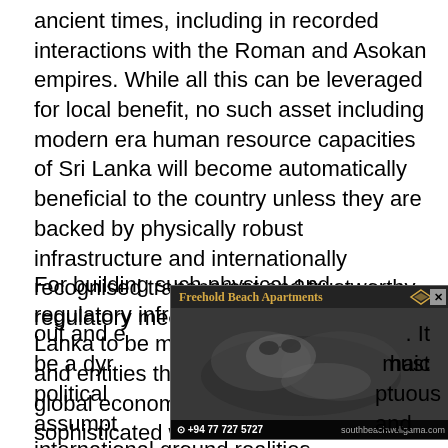ancient times, including in recorded interactions with the Roman and Asokan empires. While all this can be leveraged for local benefit, no such asset including modern era human resource capacities of Sri Lanka will become automatically beneficial to the country unless they are backed by physically robust infrastructure and internationally recognised transparent and trustworthy regulatory mechanisms.
For building such physical and regulatory infrastructure, it is best for Sri Lanka to be multi-aligned with nations and entities that currently hold and wield global economic levers. This requires a sophisticated web of external relationships not driven by glib rhetoric, but a well-thought-out and [ad overlay]. It must be a dy[n]... [archaic] political [... sumptuous] assumpt[ions...] and international ground realities.
[Figure (photo): Advertisement overlay for Freehold Beach Apartments (southbeachwaligama.com) showing a black and white photo of a person at the beach with contact number +94 77 727 5727]